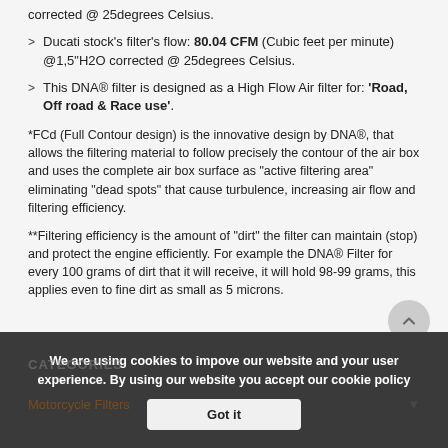corrected @ 25degrees Celsius.
Ducati stock’s filter’s flow: 80.04 CFM (Cubic feet per minute) @1,5"H2O corrected @ 25degrees Celsius.
This DNA® filter is designed as a High Flow Air filter for: ‘Road, Off road & Race use’.
*FCd (Full Contour design) is the innovative design by DNA®, that allows the filtering material to follow precisely the contour of the air box and uses the complete air box surface as “active filtering area” eliminating “dead spots” that cause turbulence, increasing air flow and filtering efficiency.
**Filtering efficiency is the amount of “dirt” the filter can maintain (stop) and protect the engine efficiently. For example the DNA® Filter for every 100 grams of dirt that it will receive, it will hold 98-99 grams, this applies even to fine dirt as small as 5 microns.
We are using cookies to impove our website and your user experience. By using our website you accept our cookie policy
Got it
CATEGORIES
Motorcycle Filters